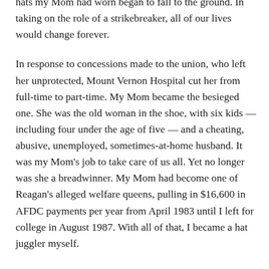hats my Mom had worn began to fall to the ground. In taking on the role of a strikebreaker, all of our lives would change forever.
In response to concessions made to the union, who left her unprotected, Mount Vernon Hospital cut her from full-time to part-time. My Mom became the besieged one. She was the old woman in the shoe, with six kids — including four under the age of five — and a cheating, abusive, unemployed, sometimes-at-home husband. It was my Mom's job to take care of us all. Yet no longer was she a breadwinner. My Mom had become one of Reagan's alleged welfare queens, pulling in $16,600 in AFDC payments per year from April 1983 until I left for college in August 1987. With all of that, I became a hat juggler myself.